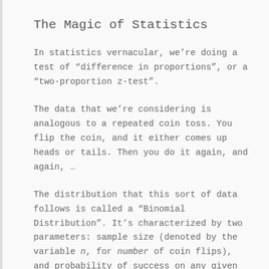The Magic of Statistics
In statistics vernacular, we’re doing a test of “difference in proportions”, or a “two-proportion z-test”.
The data that we’re considering is analogous to a repeated coin toss. You flip the coin, and it either comes up heads or tails. Then you do it again, and again, …
The distribution that this sort of data follows is called a “Binomial Distribution”. It’s characterized by two parameters: sample size (denoted by the variable n, for number of coin flips), and probability of success on any given “coin flip”